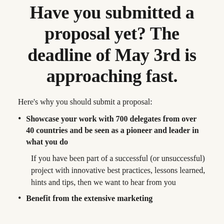Have you submitted a proposal yet? The deadline of May 3rd is approaching fast.
Here's why you should submit a proposal:
Showcase your work with 700 delegates from over 40 countries and be seen as a pioneer and leader in what you do
If you have been part of a successful (or unsuccessful) project with innovative best practices, lessons learned, hints and tips, then we want to hear from you
Benefit from the extensive marketing